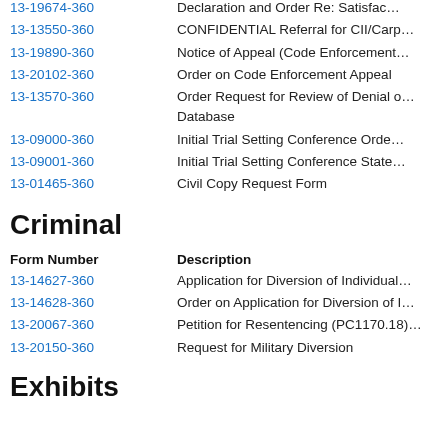13-19674-360 | Declaration and Order Re: Satisfac…
13-13550-360 | CONFIDENTIAL Referral for CII/Carp…
13-19890-360 | Notice of Appeal (Code Enforcement…
13-20102-360 | Order on Code Enforcement Appeal
13-13570-360 | Order Request for Review of Denial o… Database
13-09000-360 | Initial Trial Setting Conference Orde…
13-09001-360 | Initial Trial Setting Conference State…
13-01465-360 | Civil Copy Request Form
Criminal
Form Number | Description
13-14627-360 | Application for Diversion of Individual…
13-14628-360 | Order on Application for Diversion of I…
13-20067-360 | Petition for Resentencing (PC1170.18)…
13-20150-360 | Request for Military Diversion
Exhibits